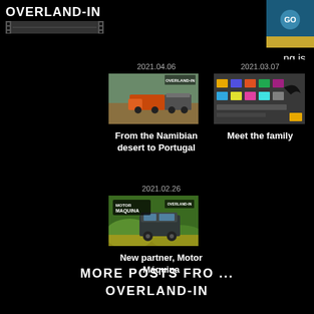OVERLAND-IN
ng is
us
2021.04.06
[Figure (photo): Truck with trailer in desert/field — From the Namibian desert to Portugal thumbnail]
From the Namibian desert to Portugal
2021.03.07
[Figure (screenshot): Meet the family — social media/logos screenshot thumbnail]
Meet the family
2021.02.26
[Figure (photo): Motor Máquina — Land Rover Defender thumbnail]
New partner, Motor Máquina
MORE POSTS FRO ...
OVERLAND-IN